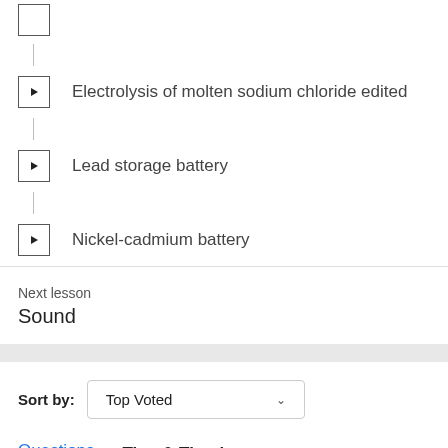Electrolysis of molten sodium chloride edited
Lead storage battery
Nickel-cadmium battery
Next lesson
Sound
Sort by: Top Voted
Questions  Tips & Thanks